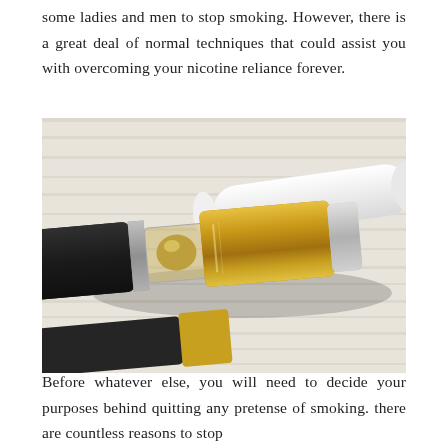some ladies and men to stop smoking. However, there is a great deal of normal techniques that could assist you with overcoming your nicotine reliance forever.
[Figure (photo): Close-up photo of a vape/e-cigarette cartridge with a gold metallic body and a white pen-style device, placed on a white wooden surface. Another dark device is partially visible at the bottom left.]
Before whatever else, you will need to decide your purposes behind quitting any pretense of smoking. there are countless reasons to stop...